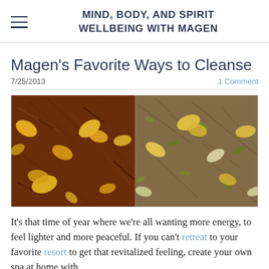MIND, BODY, AND SPIRIT WELLBEING WITH MAGEN
Magen's Favorite Ways to Cleanse
7/25/2013   1 Comment
[Figure (photo): Close-up photograph of two types of herbal tea leaves side by side: reddish-brown rooibos with yellow flower petals on the left, and a lighter green-brown herbal blend with yellow flowers on the right.]
It's that time of year where we're all wanting more energy, to feel lighter and more peaceful. If you can't retreat to your favorite resort to get that revitalized feeling, create your own spa at home with